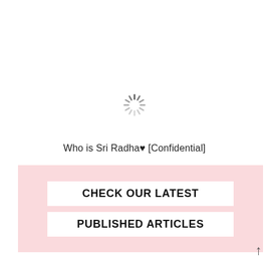[Figure (infographic): A loading spinner icon (radial lines in a circular pattern, gray color) centered in the upper portion of the page.]
Who is Sri Radha♥ [Confidential]
[Figure (infographic): Pink background banner with two white rectangular buttons stacked vertically. Top button says 'CHECK OUR LATEST' and bottom button says 'PUBLISHED ARTICLES' in bold black uppercase letters.]